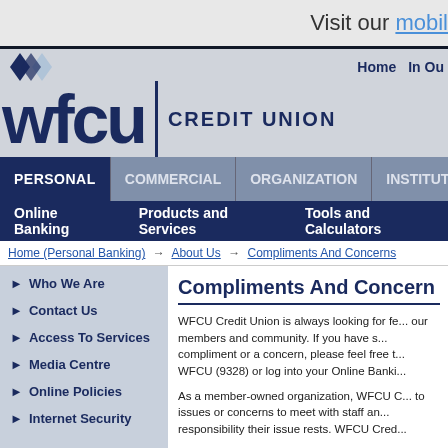Visit our mobil
[Figure (logo): WFCU Credit Union logo with diamond graphic, navy blue text]
Home  In Ou
PERSONAL  COMMERCIAL  ORGANIZATION  INSTITUTIONAL
Online Banking  Products and Services  Tools and Calculators
Home (Personal Banking) → About Us → Compliments And Concerns
Who We Are
Contact Us
Access To Services
Media Centre
Online Policies
Internet Security
Compliments And Concerns
WFCU Credit Union is always looking for fe... our members and community. If you have s... compliment or a concern, please feel free t... WFCU (9328) or log into your Online Banki...
As a member-owned organization, WFCU C... to issues or concerns to meet with staff an... responsibility their issue rests. WFCU Cred...